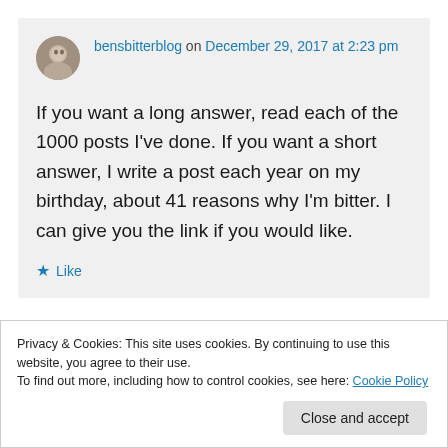bensbitterblog on December 29, 2017 at 2:23 pm
If you want a long answer, read each of the 1000 posts I've done. If you want a short answer, I write a post each year on my birthday, about 41 reasons why I'm bitter. I can give you the link if you would like.
★ Like
Privacy & Cookies: This site uses cookies. By continuing to use this website, you agree to their use.
To find out more, including how to control cookies, see here: Cookie Policy
Close and accept